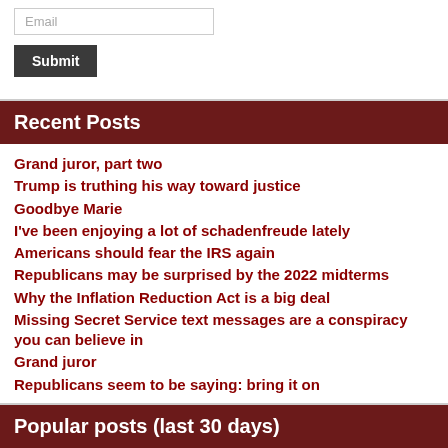Email
Submit
Recent Posts
Grand juror, part two
Trump is truthing his way toward justice
Goodbye Marie
I've been enjoying a lot of schadenfreude lately
Americans should fear the IRS again
Republicans may be surprised by the 2022 midterms
Why the Inflation Reduction Act is a big deal
Missing Secret Service text messages are a conspiracy you can believe in
Grand juror
Republicans seem to be saying: bring it on
Popular posts (last 30 days)
The peculiarity of Beau of the Fifth Column